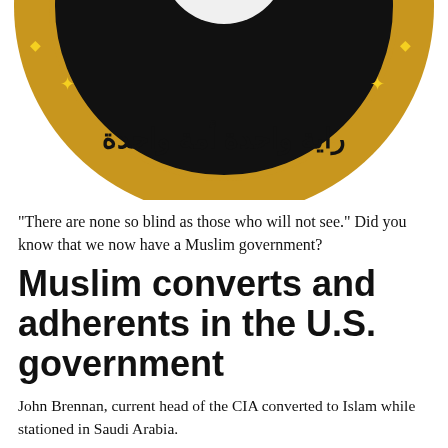[Figure (illustration): A gold and black circular coin or seal featuring Arabic calligraphy text around the border and a black flag with white Arabic text (shahada) in the center.]
“There are none so blind as those who will not see.” Did you know that we now have a Muslim government?
Muslim converts and adherents in the U.S. government
John Brennan, current head of the CIA converted to Islam while stationed in Saudi Arabia.